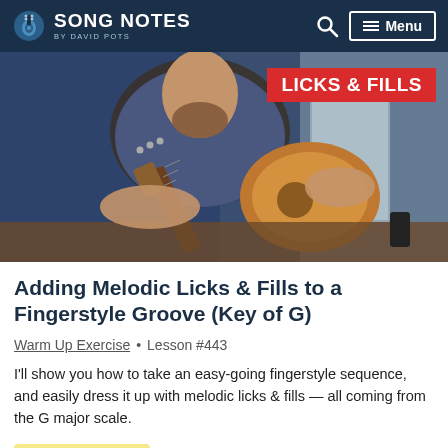SONG NOTES by David Pots
[Figure (photo): Man playing acoustic guitar in a blue-lit room. Red banner overlay reads 'LICKS & FILLS' in bold white text.]
Adding Melodic Licks & Fills to a Fingerstyle Groove (Key of G)
Warm Up Exercise • Lesson #443
I'll show you how to take an easy-going fingerstyle sequence, and easily dress it up with melodic licks & fills — all coming from the G major scale.
★ Patreon PDF